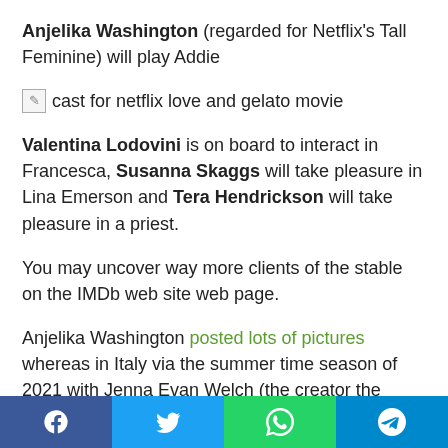Anjelika Washington (regarded for Netflix's Tall Feminine) will play Addie
[Figure (photo): cast for netflix love and gelato movie]
Valentina Lodovini is on board to interact in Francesca, Susanna Skaggs will take pleasure in Lina Emerson and Tera Hendrickson will take pleasure in a priest.
You may uncover way more clients of the stable on the IMDb web site web page.
Anjelika Washington posted lots of pictures whereas in Italy via the summer time season of 2021 with Jenna Evan Welch (the creator the guide) commenting that it's her “absolute most
Facebook | Twitter | WhatsApp | Telegram